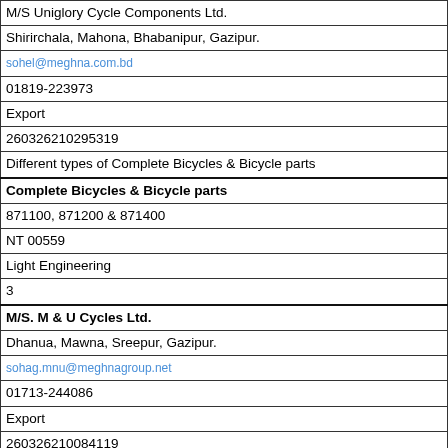| M/S Uniglory Cycle Components Ltd. |
| Shirirchala, Mahona, Bhabanipur, Gazipur. |
| sohel@meghna.com.bd |
| 01819-223973 |
| Export |
| 260326210295319 |
| Different types of Complete Bicycles & Bicycle parts |
| Complete Bicycles & Bicycle parts |
| 871100, 871200 & 871400 |
| NT 00559 |
| Light Engineering |
| 3 |
| M/S. M & U Cycles Ltd. |
| Dhanua, Mawna, Sreepur, Gazipur. |
| sohag.mnu@meghnagroup.net |
| 01713-244086 |
| Export |
| 260326210084119 |
| Different types of Complete Bicycles |
| Bicycles    (Different types) |
| 871100 &    871200 |
| NT-00039 |
| Light Engineering |
| 4 |